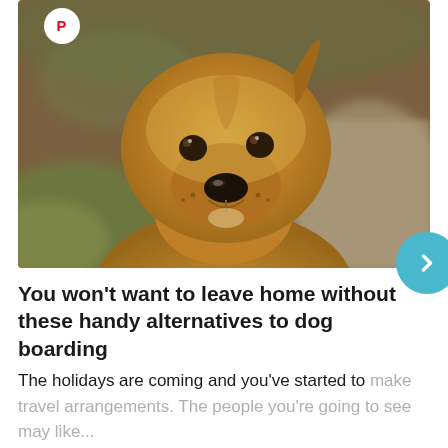[Figure (photo): Close-up photo of a brown/tan mixed-breed dog looking directly at the camera with a slightly tilted head, outdoors with blurred green and earthy background. A Pinterest save button icon appears in the top left corner of the image.]
You won’t want to leave home without these handy alternatives to dog boarding
The holidays are coming and you’ve started to make travel arrangements. The people you’re going to see may like...